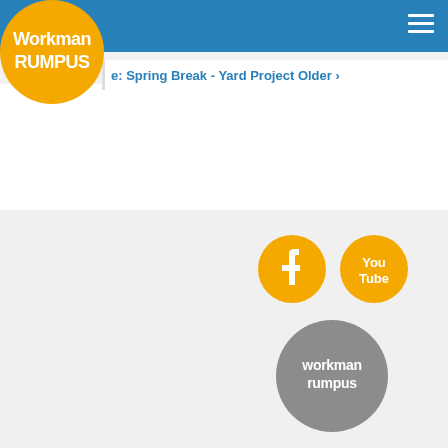[Figure (logo): Workman Rumpus logo: yellow/gold circle with white text 'Workman Rumpus' on blue header bar]
e: Spring Break - Yard Project Older ›
[Figure (logo): Facebook logo: gold/yellow circle with white F icon]
[Figure (logo): YouTube logo: gold/yellow circle with white 'You Tube' text]
[Figure (logo): Workman Rumpus gray circle logo with white text 'workman rumpus']